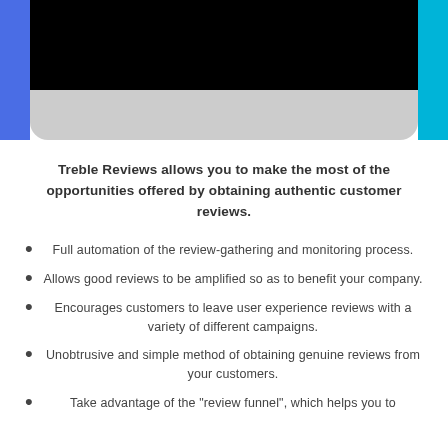[Figure (screenshot): Top portion of a mobile phone mockup showing a black screen area with a gray rounded bottom, flanked by a blue bar on the left and a cyan bar on the right.]
Treble Reviews allows you to make the most of the opportunities offered by obtaining authentic customer reviews.
Full automation of the review-gathering and monitoring process.
Allows good reviews to be amplified so as to benefit your company.
Encourages customers to leave user experience reviews with a variety of different campaigns.
Unobtrusive and simple method of obtaining genuine reviews from your customers.
Take advantage of the "review funnel", which helps you to